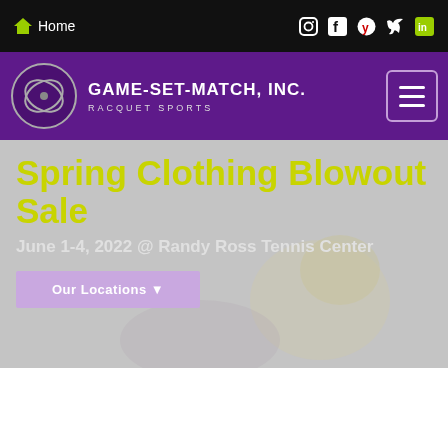Home
GAME-SET-MATCH, INC. RACQUET SPORTS
Spring Clothing Blowout Sale
June 1-4, 2022 @ Randy Ross Tennis Center
Our Locations